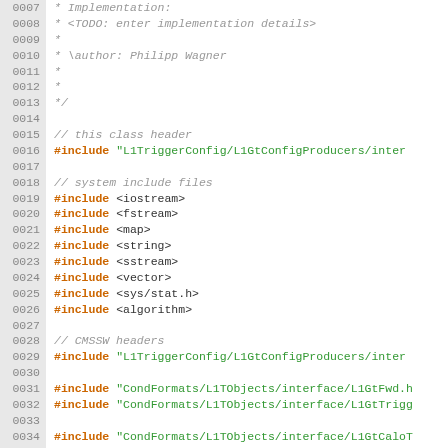Source code listing lines 0007-0036, C++ implementation file with includes for L1TriggerConfig and CondFormats libraries.